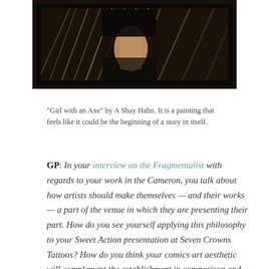[Figure (photo): Partial view of a dark-framed painting showing a figure with grassy/wheat background, cropped at the top of the page.]
"Girl with an Axe" by A Shay Hahn. It is a painting that feels like it could be the beginning of a story in itself.
GP: In your interview on the Fragmentalist with regards to your work in the Cameron, you talk about how artists should make themselves — and their works — a part of the venue in which they are presenting their part. How do you see yourself applying this philosophy to your Sweet Action presentation at Seven Crowns Tattoos? How do you think your comics art aesthetic will complement the establishment in comparison and contrast to your